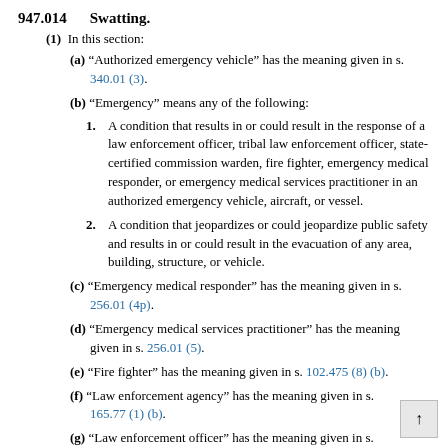947.014    Swatting.
(1)  In this section:
(a) “Authorized emergency vehicle” has the meaning given in s. 340.01 (3).
(b) “Emergency” means any of the following:
1. A condition that results in or could result in the response of a law enforcement officer, tribal law enforcement officer, state-certified commission warden, fire fighter, emergency medical responder, or emergency medical services practitioner in an authorized emergency vehicle, aircraft, or vessel.
2. A condition that jeopardizes or could jeopardize public safety and results in or could result in the evacuation of any area, building, structure, or vehicle.
(c) “Emergency medical responder” has the meaning given in s. 256.01 (4p).
(d) “Emergency medical services practitioner” has the meaning given in s. 256.01 (5).
(e) “Fire fighter” has the meaning given in s. 102.475 (8) (b).
(f) “Law enforcement agency” has the meaning given in s. 165.77 (1) (b).
(g) “Law enforcement officer” has the meaning given in s.